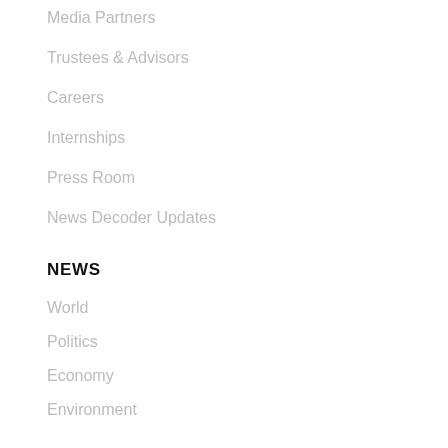Media Partners
Trustees & Advisors
Careers
Internships
Press Room
News Decoder Updates
NEWS
World
Politics
Economy
Environment
Health & Wellness
Human Rights
Culture
MEDIA LITERACY
Youth Voices